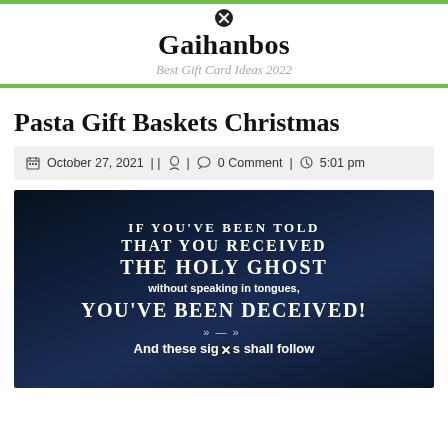Gaihanbos — Best Gift Card Ideas 2022
Pasta Gift Baskets Christmas
October 27, 2021 | | 0 Comment | 5:01 pm
[Figure (photo): Dark blue gradient background image with white text reading: IF YOU'VE BEEN TOLD THAT YOU RECEIVED THE HOLY GHOST without speaking in tongues, YOU'VE BEEN DECEIVED! And these signs shall follow]